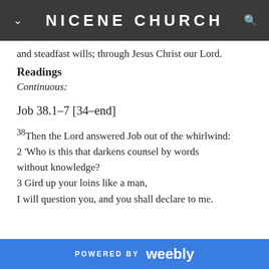NICENE CHURCH
and steadfast wills; through Jesus Christ our Lord.
Readings
Continuous:
Job 38.1-7 [34-end]
38Then the Lord answered Job out of the whirlwind: 2 'Who is this that darkens counsel by words without knowledge? 3 Gird up your loins like a man, I will question you, and you shall declare to me.
POWERED BY weebly